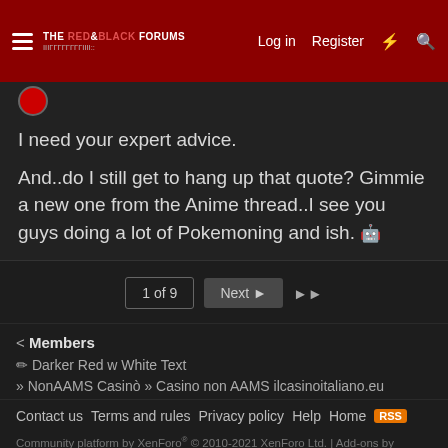THE RED & BLACK FORUMS | Log in | Register
I need your expert advice.
And..do I still get to hang up that quote? Gimmie a new one from the Anime thread..I see you guys doing a lot of Pokemoning and ish. 🤖
1 of 9  Next  ▶▶
< Members
✏ Darker Red w White Text
» NonAAMS Casinò » Casino non AAMS ilcasinoitaliano.eu
Contact us  Terms and rules  Privacy policy  Help  Home  [RSS]
Community platform by XenForo® © 2010-2021 XenForo Ltd. | Add-ons by ThemeHouse | Media embeds via s9e/MediaSites